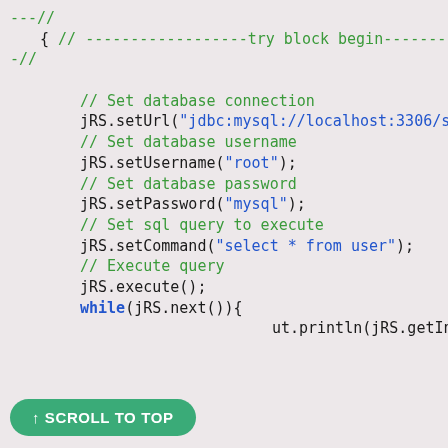[Figure (screenshot): Java code snippet showing database connection setup using JRS (JasperReports Server). Code includes comments and method calls: setUrl, setUsername, setPassword, setCommand, execute, and a while loop. There is a 'SCROLL TO TOP' button overlay at the bottom.]